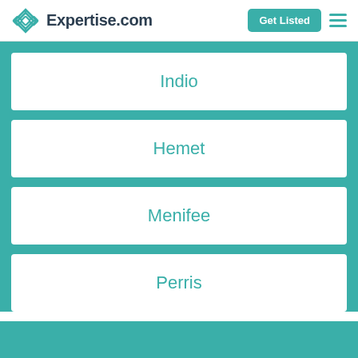Expertise.com
Indio
Hemet
Menifee
Perris
For Providers